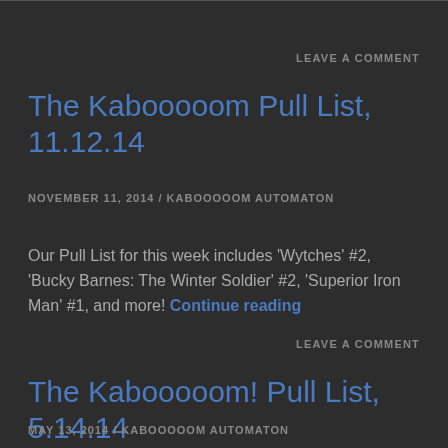LEAVE A COMMENT
The Kabooooom Pull List, 11.12.14
NOVEMBER 11, 2014 / KABOOOOOM AUTOMATON
Our Pull List for this week includes 'Wytches' #2, 'Bucky Barnes: The Winter Soldier' #2, 'Superior Iron Man' #1, and more! Continue reading
LEAVE A COMMENT
The Kabooooom! Pull List, 5.14.14
MAY 13, 2014 / KABOOOOOM AUTOMATON